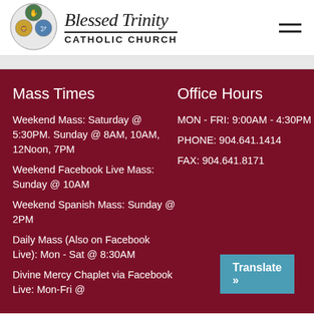[Figure (logo): Blessed Trinity Catholic Church circular stained glass logo with religious imagery]
Blessed Trinity CATHOLIC CHURCH
Mass Times
Weekend Mass: Saturday @ 5:30PM. Sunday @ 8AM, 10AM, 12Noon, 7PM
Weekend Facebook Live Mass: Sunday @ 10AM
Weekend Spanish Mass: Sunday @ 2PM
Daily Mass (Also on Facebook Live): Mon - Sat @ 8:30AM
Divine Mercy Chaplet via Facebook Live: Mon-Fri @
Office Hours
MON - FRI: 9:00AM - 4:30PM
PHONE: 904.641.1414
FAX: 904.641.8171